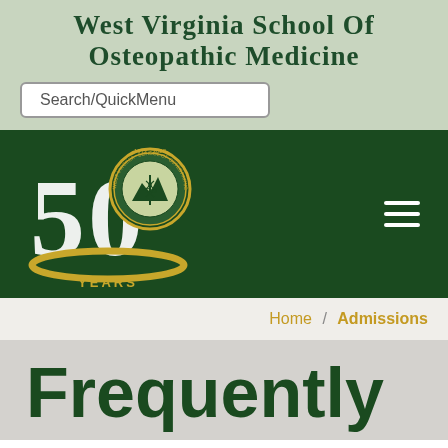West Virginia School of Osteopathic Medicine
[Figure (logo): West Virginia School of Osteopathic Medicine 50 Years anniversary logo (1972-2022) with gold and green design showing a circular seal and the number 50]
Home / Admissions
Frequently